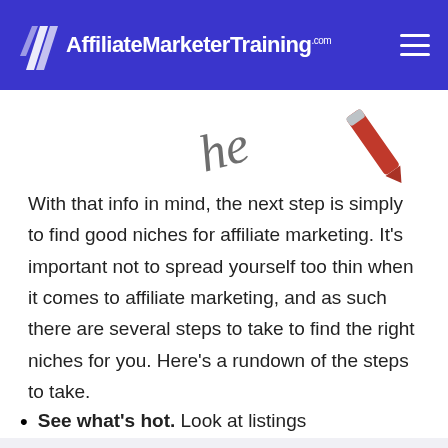AffiliateMarketerTraining.com
[Figure (illustration): Partial decorative image showing cursive text 'he' and a red pencil or tube object on white background]
With that info in mind, the next step is simply to find good niches for affiliate marketing. It’s important not to spread yourself too thin when it comes to affiliate marketing, and as such there are several steps to take to find the right niches for you. Here’s a rundown of the steps to take.
See what’s hot. Look at listings